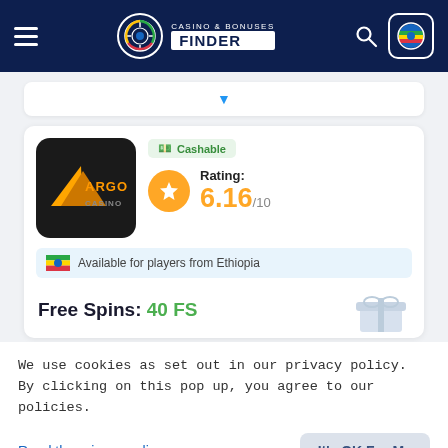[Figure (screenshot): Casino & Bonuses Finder website navigation bar with hamburger menu, logo, search icon, and Ethiopian flag button on dark navy background]
[Figure (screenshot): Dropdown selector with blue caret arrow on white background]
[Figure (screenshot): Argo Casino card showing Cashable badge, Rating 6.16/10 with orange star, Available for players from Ethiopia tag, and Free Spins: 40 FS offer with gift image]
We use cookies as set out in our privacy policy. By clicking on this pop up, you agree to our policies.
Read the privacy policy
It's OK For Me